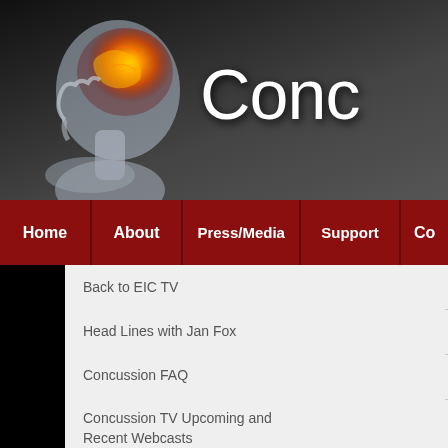[Figure (screenshot): Website screenshot showing a concussion information website. Dark header banner with a glowing orange brain X-ray figure on the left and large white text 'Conc' partially visible on the right. Below is a dark red navigation bar with menu items: Home, About, Press/Media, Support, Co... A dropdown menu is open beneath with items: Back to EIC TV, Head Lines with Jan Fox, Concussion FAQ, Concussion TV Upcoming and Recent Webcasts, Concussion TV Archived Webcasts. On the right side a large red 3D text 'HEA' is visible with a logo beneath it. Below is text 'Episode 13: NFL & GE' and a video thumbnail showing 'AP'.]